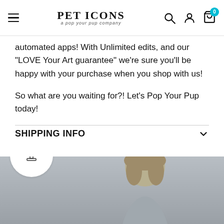PET ICONS — a pop your pup company
automated apps! With Unlimited edits, and our "LOVE Your Art guarantee" we're sure you'll be happy with your purchase when you shop with us!
So what are you waiting for?! Let's Pop Your Pup today!
SHIPPING INFO
[Figure (photo): Bottom of page showing a person (woman with blonde hair) and a trophy icon badge in the lower left corner]